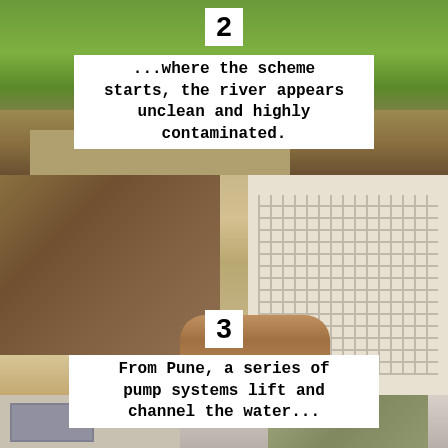[Figure (photo): Photo 2: A river or water body with green vegetation/algae on the surface, with a concrete wall/structure in the foreground and dry ground. Labeled with number 2.]
...where the scheme starts, the river appears unclean and highly contaminated.
[Figure (photo): Photo 3: Pump station with large industrial pipes/conduits in the foreground, bare trees on the left, and a white building with lattice windows on the right. Labeled with number 3.]
From Pune, a series of pump systems lift and channel the water...
[Figure (photo): Photo at bottom: Partial view of a building with windows on the left and dry trees on the right against a pale sky.]